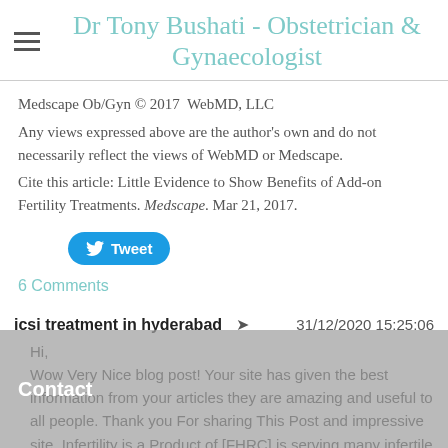Dr Tony Bushati - Obstetrician & Gynaecologist
Medscape Ob/Gyn © 2017 WebMD, LLC
Any views expressed above are the author's own and do not necessarily reflect the views of WebMD or Medscape.
Cite this article: Little Evidence to Show Benefits of Add-on Fertility Treatments. Medscape. Mar 21, 2017.
[Figure (other): Blue Tweet button with Twitter bird icon]
6 Comments
icsi treatment in hyderabad    31/12/2020 15:25:06
Hi,
Wow Very Nice blog post! Your site has given the best information from your articles they are amazing and useful to all people. Thank you For sharing This Post and impressive site. Infertility is a Product of [FHRC] is serving many infertile couples Nationally and globally. FHRC is set